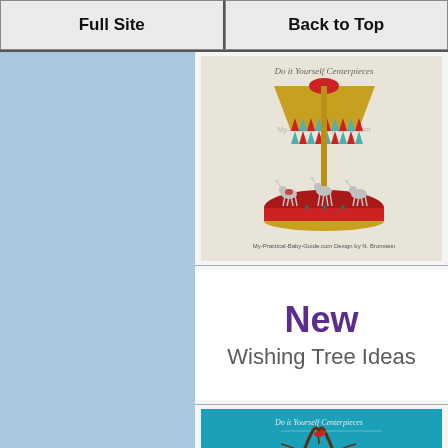Full Site | Back to Top
[Figure (photo): A decorative carousel centerpiece with gold canopy, red and teal triangle bunting, and silver reindeer figurines on a red base. Text overlay reads 'Do it Yourself Centerpieces' and 'My-Practical-Baby-Guide.com Design by N. Bronstein']
New
Wishing Tree Ideas
[Figure (photo): A wishing tree centerpiece on a teal background with gold heart-shaped ornaments and small red bird figurines. Text overlay reads 'Do it Yourself Centerpieces']